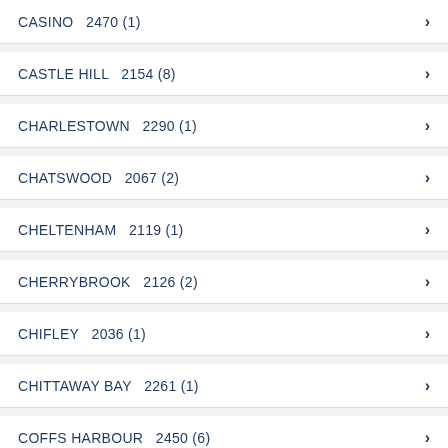CASINO  2470 (1)
CASTLE HILL  2154 (8)
CHARLESTOWN  2290 (1)
CHATSWOOD  2067 (2)
CHELTENHAM  2119 (1)
CHERRYBROOK  2126 (2)
CHIFLEY  2036 (1)
CHITTAWAY BAY  2261 (1)
COFFS HARBOUR  2450 (6)